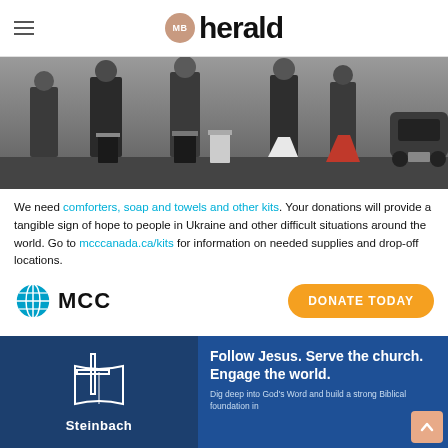MB herald
[Figure (photo): People carrying black buckets and bags in a parking lot, outdoor scene]
We need comforters, soap and towels and other kits. Your donations will provide a tangible sign of hope to people in Ukraine and other difficult situations around the world. Go to mcccanada.ca/kits for information on needed supplies and drop-off locations.
[Figure (logo): MCC (Mennonite Central Committee) logo with globe icon and MCC wordmark, plus orange DONATE TODAY button]
[Figure (infographic): Steinbach MB Bible College ad: dark blue background with cross/book logo, text: Follow Jesus. Serve the church. Engage the world. Dig deep into God's Word and build a strong Biblical foundation in]